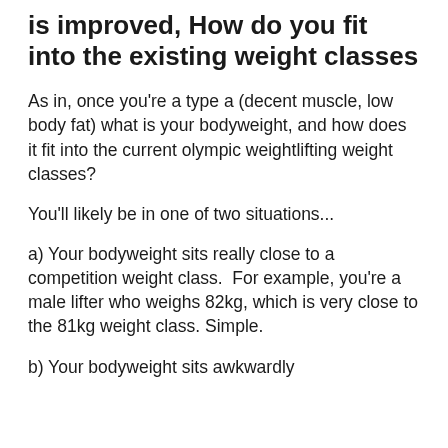is improved, How do you fit into the existing weight classes
As in, once you're a type a (decent muscle, low body fat) what is your bodyweight, and how does it fit into the current olympic weightlifting weight classes?
You'll likely be in one of two situations...
a) Your bodyweight sits really close to a competition weight class.  For example, you're a male lifter who weighs 82kg, which is very close to the 81kg weight class. Simple.
b) Your bodyweight sits awkwardly